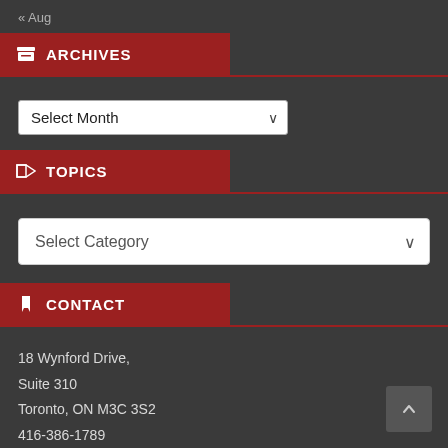« Aug
ARCHIVES
[Figure (screenshot): Select Month dropdown]
TOPICS
[Figure (screenshot): Select Category dropdown]
CONTACT
18 Wynford Drive,
Suite 310
Toronto, ON M3C 3S2
416-386-1789
Toll-Free/Sans frais:
1-877-426-1426
info@iamaw.ca